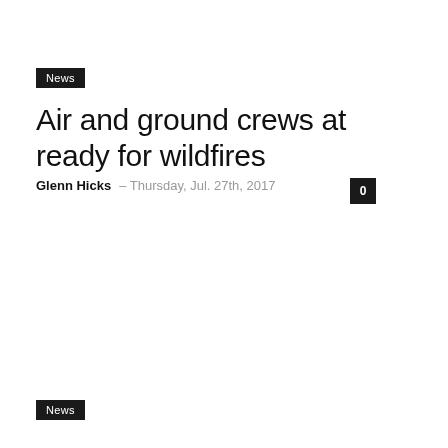News
Air and ground crews at ready for wildfires
Glenn Hicks – Thursday, Jul. 27th, 2017   0
News